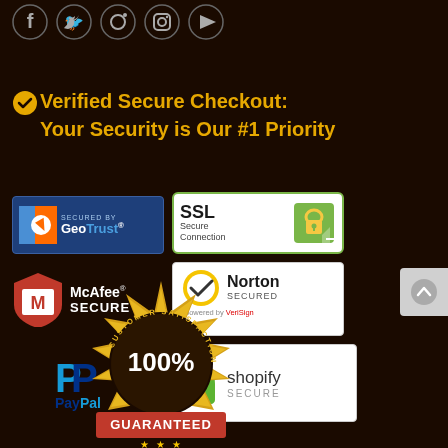[Figure (illustration): Social media icons: Facebook, Twitter, Pinterest, Instagram, YouTube]
Verified Secure Checkout: Your Security is Our #1 Priority
[Figure (logo): Secured by GeoTrust badge]
[Figure (logo): SSL Secure Connection badge with padlock]
[Figure (logo): McAfee SECURE badge]
[Figure (logo): Norton SECURED powered by VeriSign badge]
[Figure (logo): PayPal logo]
[Figure (logo): Shopify Secure badge]
[Figure (illustration): Customer Satisfaction 100% Guaranteed gold seal badge]